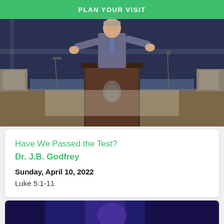PLAN YOUR VISIT
[Figure (photo): A man in a suit speaking at a church pulpit with a leaf logo, arms outstretched, on a stage with wood paneling and lighting.]
Have We Passed the Test?
Dr. J.B. Godfrey
Sunday, April 10, 2022
Luke 5:1-11
[Figure (photo): Partial view of another sermon video thumbnail with blue/purple lighting on a dark stage.]